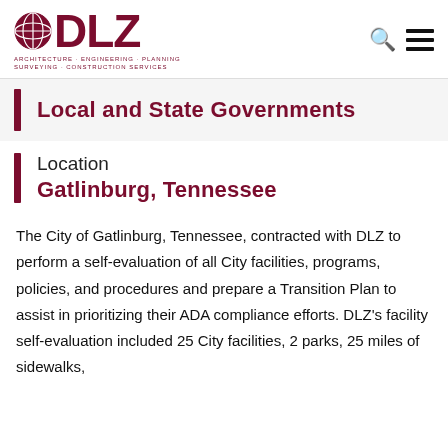DLZ — Architecture · Engineering · Planning · Surveying · Construction Services
Local and State Governments
Location
Gatlinburg, Tennessee
The City of Gatlinburg, Tennessee, contracted with DLZ to perform a self-evaluation of all City facilities, programs, policies, and procedures and prepare a Transition Plan to assist in prioritizing their ADA compliance efforts. DLZ's facility self-evaluation included 25 City facilities, 2 parks, 25 miles of sidewalks,